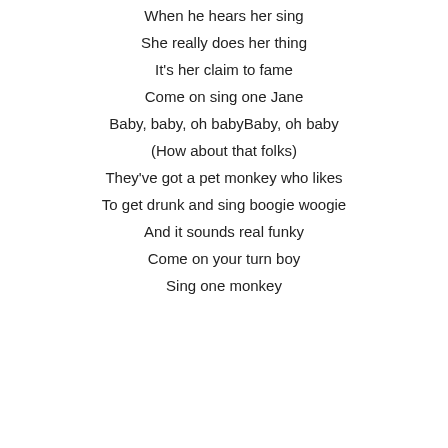When he hears her sing
She really does her thing
It's her claim to fame
Come on sing one Jane
Baby, baby, oh babyBaby, oh baby
(How about that folks)
They've got a pet monkey who likes
To get drunk and sing boogie woogie
And it sounds real funky
Come on your turn boy
Sing one monkey